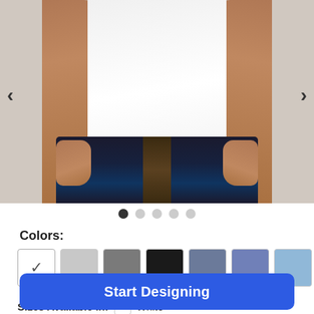[Figure (photo): Man wearing a plain white t-shirt with dark jeans, showing torso and hands, with left and right navigation arrows on either side]
Colors:
[Figure (other): Color swatches: white (selected with checkmark), light gray, dark gray, black, slate blue, medium blue, light blue, olive green]
Sizes Available in:  White
Start Designing